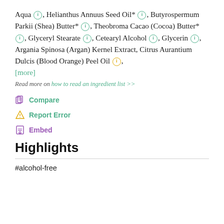Aqua, Helianthus Annuus Seed Oil*, Butyrospermum Parkii (Shea) Butter*, Theobroma Cacao (Cocoa) Butter*, Glyceryl Stearate, Cetearyl Alcohol, Glycerin, Argania Spinosa (Argan) Kernel Extract, Citrus Aurantium Dulcis (Blood Orange) Peel Oil, [more]
Read more on how to read an ingredient list >>
Compare
Report Error
Embed
Highlights
#alcohol-free